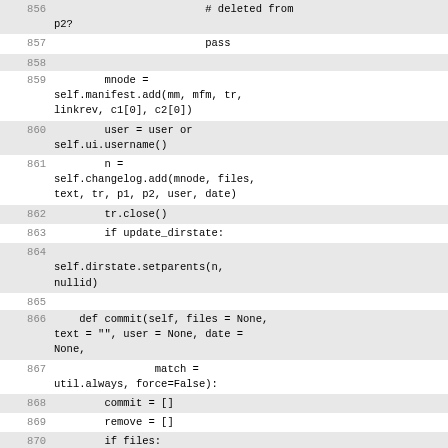[Figure (screenshot): Source code listing showing Python code lines 856-872, with alternating shaded and plain background rows. Code includes comments about deletion, pass statement, manifest/changelog operations, commit function definition, and file state checks.]